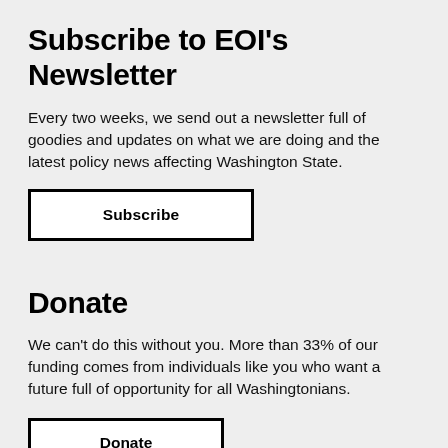Subscribe to EOI's Newsletter
Every two weeks, we send out a newsletter full of goodies and updates on what we are doing and the latest policy news affecting Washington State.
Subscribe
Donate
We can't do this without you. More than 33% of our funding comes from individuals like you who want a future full of opportunity for all Washingtonians.
Donate